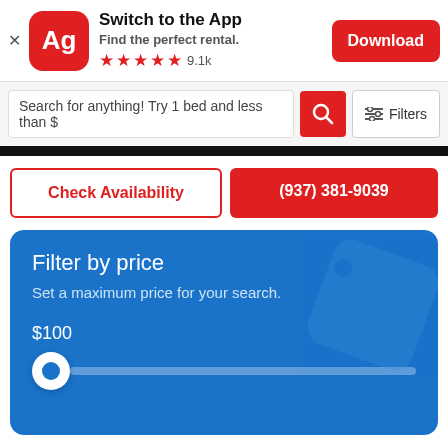[Figure (screenshot): App banner with Ag logo, 'Switch to the App', 'Find the perfect rental.', 5-star rating 9.1k, and Download button]
Search for anything! Try 1 bed and less than $
Filters
Check Availability
(937) 381-9039
Filter by price
Set a maximum price for your search.
$100